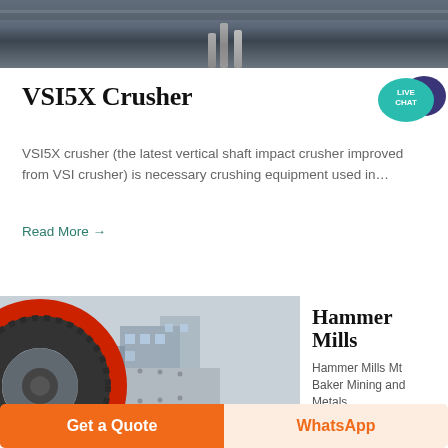[Figure (photo): Top portion of a photo showing industrial crushing equipment, partially visible at the top of the page]
VSI5X Crusher
[Figure (illustration): Live Chat speech bubble icon in teal/blue colors]
VSI5X crusher (the latest vertical shaft impact crusher improved from VSI crusher) is necessary crushing equipment used in…
Read More →
[Figure (photo): Photo of large industrial ball mill / hammer mill machinery with large gear wheel, grey cylindrical drum, red wheel hub, in outdoor industrial setting]
Hammer Mills
Hammer Mills Mt Baker Mining and Metals
Get a Quote
WhatsApp